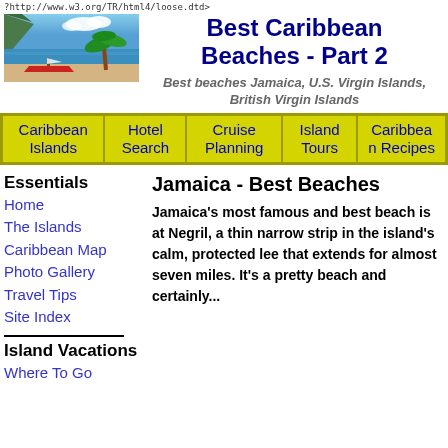?http://www.w3.org/TR/html4/loose.dtd>
[Figure (photo): Caribbean beach scene with blue sky, water, palm trees, and a red boat on the beach]
Best Caribbean Beaches - Part 2
Best beaches Jamaica, U.S. Virgin Islands, British Virgin Islands
| Caribbean Islands | Hotel Search | Cruise Planning | Island Tours | Caribbean Recipes |
| --- | --- | --- | --- | --- |
Essentials
Home
The Islands
Caribbean Map
Photo Gallery
Travel Tips
Site Index
Island Vacations
Where To Go
Jamaica - Best Beaches
Jamaica's most famous and best beach is at Negril, a thin narrow strip in the island's calm, protected lee that extends for almost seven miles.  It's a pretty beach and certainly...